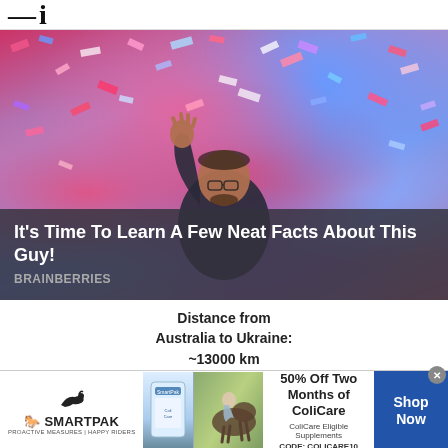— i
[Figure (photo): Man in a suit raising his hand amid a shower of colorful confetti (pink, blue, red, white) at what appears to be a celebration event.]
It's Time To Learn A Few Neat Facts About This Guy!
BRAINBERRIES
Distance from Australia to Ukraine: ~13000 km
[Figure (other): SmartPak advertisement banner: logo with horse icon, product and horse photos, '50% Off Two Months of ColiCare, ColiCare Eligible Supplements CODE: COLICARE10', Shop Now button.]